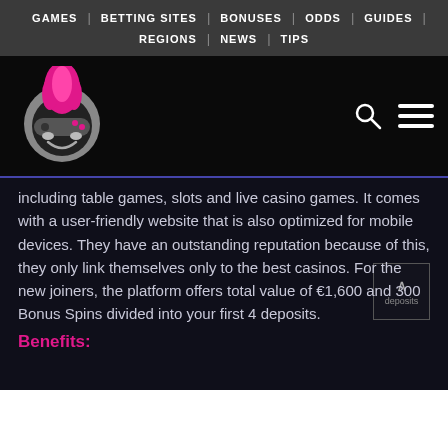GAMES | BETTING SITES | BONUSES | ODDS | GUIDES | REGIONS | NEWS | TIPS
[Figure (logo): Gaming website logo: circular mascot with pink flame hair, game controller mask, and gray face. Logo for a gambling/gaming review site.]
including table games, slots and live casino games. It comes with a user-friendly website that is also optimized for mobile devices. They have an outstanding reputation because of this, they only link themselves only to the best casinos. For the new joiners, the platform offers total value of €1600 and 300 Bonus Spins divided into your first 4 deposits.
Benefits: